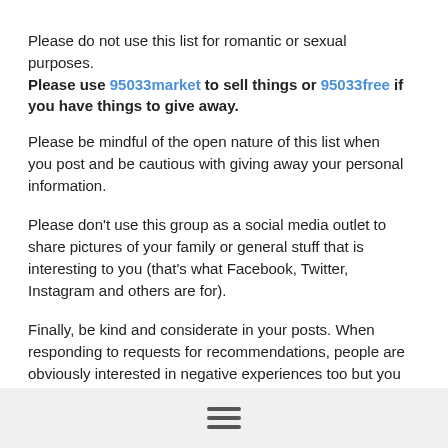Please do not use this list for romantic or sexual purposes. Please use 95033market to sell things or 95033free if you have things to give away.
Please be mindful of the open nature of this list when you post and be cautious with giving away your personal information.
Please don't use this group as a social media outlet to share pictures of your family or general stuff that is interesting to you (that's what Facebook, Twitter, Instagram and others are for).
Finally, be kind and considerate in your posts. When responding to requests for recommendations, people are obviously interested in negative experiences too but you may want to simply post to the list that you can provide comments on XYZ and suggest the inquirer email you off list. The implication will be clear enough and it may not be a good idea to air your dirty laundry so publicly!
Also, occasionally due to some timely event, the list veers onto